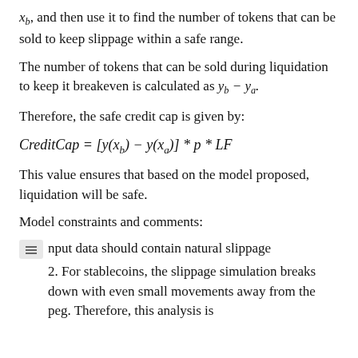x_b, and then use it to find the number of tokens that can be sold to keep slippage within a safe range.
The number of tokens that can be sold during liquidation to keep it breakeven is calculated as y_b − y_a.
Therefore, the safe credit cap is given by:
This value ensures that based on the model proposed, liquidation will be safe.
Model constraints and comments:
Input data should contain natural slippage
2. For stablecoins, the slippage simulation breaks down with even small movements away from the peg. Therefore, this analysis is